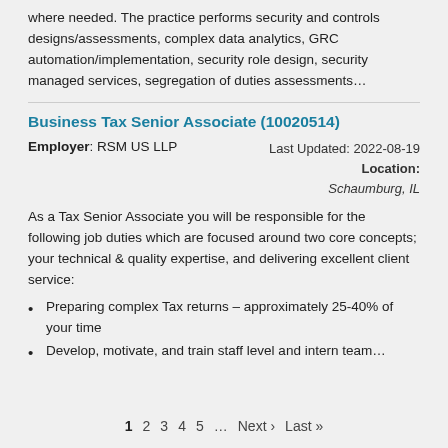where needed. The practice performs security and controls designs/assessments, complex data analytics, GRC automation/implementation, security role design, security managed services, segregation of duties assessments...
Business Tax Senior Associate (10020514)
Employer: RSM US LLP
Last Updated: 2022-08-19
Location: Schaumburg, IL
As a Tax Senior Associate you will be responsible for the following job duties which are focused around two core concepts; your technical & quality expertise, and delivering excellent client service:
Preparing complex Tax returns – approximately 25-40% of your time
Develop, motivate, and train staff level and intern team…
1 2 3 4 5 … Next › Last »